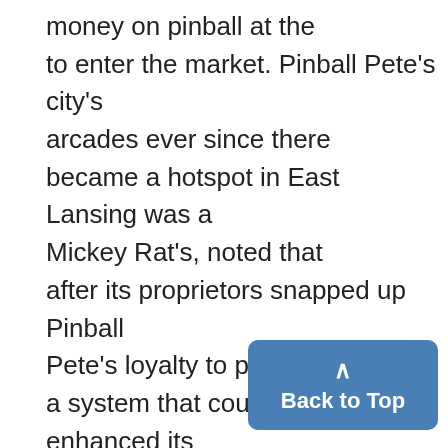money on pinball at the to enter the market. Pinball Pete's city's arcades ever since there became a hotspot in East Lansing was a Mickey Rat's, noted that after its proprietors snapped up Pinball Pete's loyalty to pinball a system that could play Pong, enhanced its appeal and might Space Invaders and other games. have contributed to its outlasting "The rest is basically history," of the competition. Arnold said. "We never looked
Back to Top